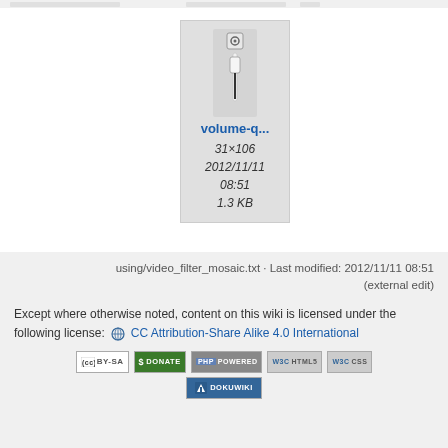[Figure (screenshot): File card showing a volume control icon image thumbnail with filename 'volume-q...', dimensions 31x106, date 2012/11/11 08:51, size 1.3 KB]
using/video_filter_mosaic.txt · Last modified: 2012/11/11 08:51 (external edit)
Except where otherwise noted, content on this wiki is licensed under the following license: CC Attribution-Share Alike 4.0 International
[Figure (screenshot): Row of badges: CC BY-SA, Donate, PHP Powered, WSC HTML5, WSC CSS, DokuWiki]